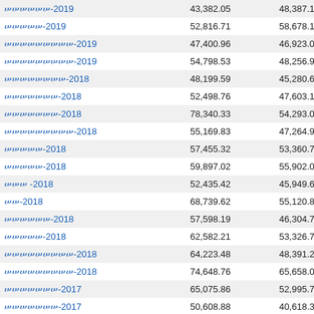| Name | Value1 | Value2 | Diff |
| --- | --- | --- | --- |
| ሠሠሠሠሠሠ-2019 | 43,382.05 | 48,387.13 | -5,005 |
| ሠሠሠሠሠ-2019 | 52,816.71 | 58,678.14 | -5,861 |
| ሠሠሠሠሠሠሠሠሠ-2019 | 47,400.96 | 46,923.06 | 477 |
| ሠሠሠሠሠሠሠሠሠ-2019 | 54,798.53 | 48,256.99 | 6,541 |
| ሠሠሠሠሠሠሠሠ-2018 | 48,199.59 | 45,280.62 | 2,918 |
| ሠሠሠሠሠሠሠ-2018 | 52,498.76 | 47,603.16 | 4,895 |
| ሠሠሠሠሠሠሠ-2018 | 78,340.33 | 54,293.01 | 24,034 |
| ሠሠሠሠሠሠሠሠሠ-2018 | 55,169.83 | 47,264.91 | 7,904 |
| ሠሠሠሠሠ-2018 | 57,455.32 | 53,360.79 | 4,094 |
| ሠሠሠሠሠ-2018 | 59,897.02 | 55,902.00 | 3,995 |
| ሠሠሠ -2018 | 52,435.42 | 45,949.64 | 6,485 |
| ሠሠ-2018 | 68,739.62 | 55,120.80 | 13,618 |
| ሠሠሠሠሠሠ-2018 | 57,598.19 | 46,304.73 | 11,293 |
| ሠሠሠሠሠ-2018 | 62,582.21 | 53,326.71 | 9,255 |
| ሠሠሠሠሠሠሠሠሠ-2018 | 64,223.48 | 48,391.21 | 15,832 |
| ሠሠሠሠሠሠሠሠሠ-2018 | 74,648.76 | 65,658.01 | 8,990 |
| ሠሠሠሠሠሠሠ-2017 | 65,075.86 | 52,995.76 | 12,080 |
| ሠሠሠሠሠሠሠ-2017 | 50,608.88 | 40,618.38 | 9,990 |
| ሠሠሠሠሠሠሠሠሠ-2017 | 52,152.77 | 34,695.93 | 17,456 |
| ሠሠሠሠሠ-2017 | 50,272.80 | 32,331.69 | 17,941 |
| ሠሠሠሠሠ-2017 | 50,268.51 | 38,468.66 | 11,799 |
| ሠሠሠ -2017 | 43,484.16 | 34,284.77 | 9,199 |
| ሠሠ-2017 | 54,050.07 | 44,701.50 | 9,057 |